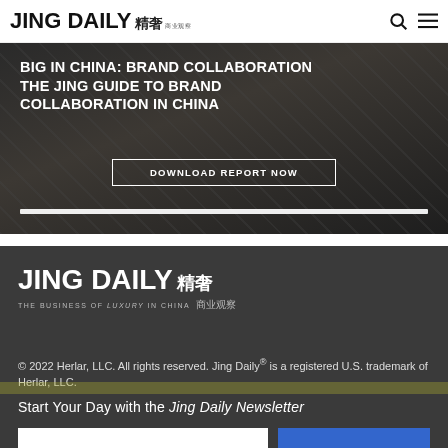JING DAILY 精奢 商业观察
[Figure (screenshot): Dark banner image with text: BIG IN CHINA: BRAND COLLABORATION — THE JING GUIDE TO BRAND COLLABORATION IN CHINA, with a Download Report Now button and progress bar]
[Figure (logo): Jing Daily logo in white: JING DAILY 精奢 — THE BUSINESS OF LUXURY IN CHINA 商业观察]
© 2022 Herlar, LLC. All rights reserved. Jing Daily® is a registered U.S. trademark of Herlar, LLC.
Start Your Day with the Jing Daily Newsletter